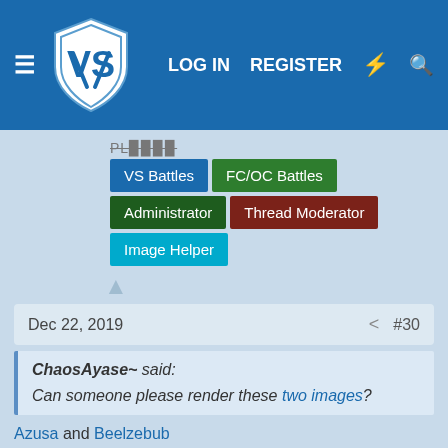VS Battles Wiki — LOG IN  REGISTER
VS Battles | FC/OC Battles | Administrator | Thread Moderator | Image Helper
Dec 22, 2019  #30
ChaosAyase~ said:
Can someone please render these two images?
Azusa and Beelzebub
ChaosAyase~